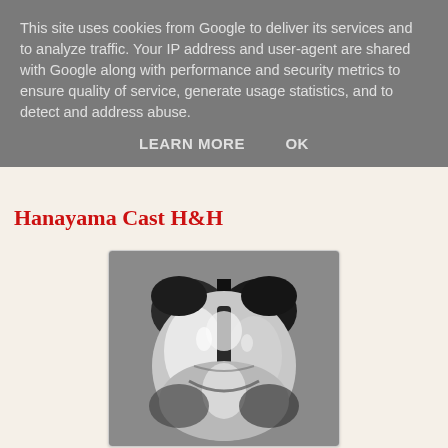This site uses cookies from Google to deliver its services and to analyze traffic. Your IP address and user-agent are shared with Google along with performance and security metrics to ensure quality of service, generate usage statistics, and to detect and address abuse.
LEARN MORE    OK
Hanayama Cast H&H
[Figure (photo): Close-up photograph of the Hanayama Cast H&H metal puzzle, showing a shiny silver/chrome interlocking metal puzzle piece shaped like two H-letters joined together, photographed from above against a grey background.]